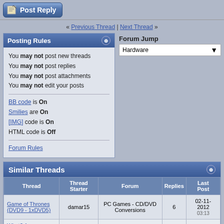[Figure (screenshot): Post Reply button with pencil/paper icon]
« Previous Thread | Next Thread »
Posting Rules
You may not post new threads
You may not post replies
You may not post attachments
You may not edit your posts
BB code is On
Smilies are On
[IMG] code is On
HTML code is Off
Forum Rules
Forum Jump Hardware
Similar Threads
| Thread | Thread Starter | Forum | Replies | Last Post |
| --- | --- | --- | --- | --- |
| Game of Thrones (DVD9 - 1xDVD5) | damar15 | PC Games - CD/DVD Conversions | 6 | 02-11-2012 03:13 |
| What? A pornography game? This game aren't for me | Tie Wrap | XBox 360 Games | 9 | 19-04-2006 05:51 |